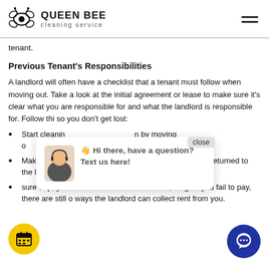Queen Bee Cleaning Service
tenant.
Previous Tenant's Responsibilities
A landlord will often have a checklist that a tenant must follow when moving out. Take a look at the initial agreement or lease to make sure it's clear what you are responsible for and what the landlord is responsible for. Follow this so you don't get lost:
Start cleaning... by moving o...
Make sure y... were supposed to be returned to the landlord.
sure to pay the rent on time to avoid lat...s, ...ough if you fail to pay, there are still o... ways the landlord can collect rent from you.
[Figure (screenshot): Chat popup widget showing a support agent avatar and text 'Hi there, have a question? Text us here!' with a close button, a yellow calendar button, and a blue chat button.]